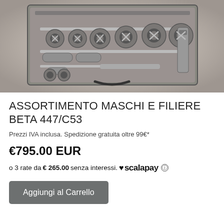[Figure (photo): Product photo of a tap and die set (maschi e filiere) in a metal carry case, showing multiple threading tools including taps, dies, and handles, in black and white / sepia tone.]
ASSORTIMENTO MASCHI E FILIERE BETA 447/C53
Prezzi IVA inclusa. Spedizione gratuita oltre 99€*
€795.00 EUR
o 3 rate da € 265.00 senza interessi. ♥ scalapay ⓘ
Aggiungi al Carrello